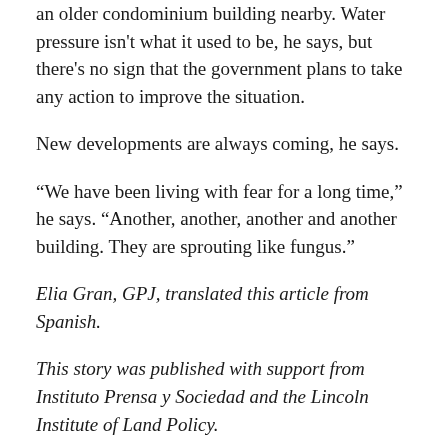an older condominium building nearby. Water pressure isn't what it used to be, he says, but there's no sign that the government plans to take any action to improve the situation.
New developments are always coming, he says.
“We have been living with fear for a long time,” he says. “Another, another, another and another building. They are sprouting like fungus.”
Elia Gran, GPJ, translated this article from Spanish.
This story was published with support from Instituto Prensa y Sociedad and the Lincoln Institute of Land Policy.